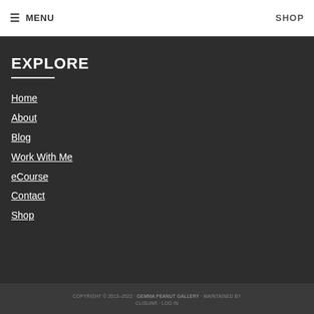≡ MENU   SHOP
EXPLORE
Home
About
Blog
Work With Me
eCourse
Contact
Shop
COPYRIGHT © 2013–2022 · GEMMA PEANUT GALLERY · MAINTAINED BY CLISIJNR · LOG IN